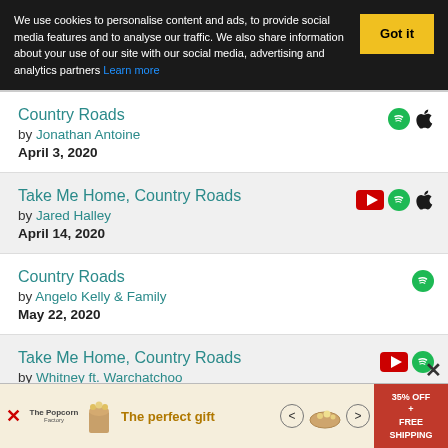We use cookies to personalise content and ads, to provide social media features and to analyse our traffic. We also share information about your use of our site with our social media, advertising and analytics partners Learn more
Country Roads by Jonathan Antoine April 3, 2020
Take Me Home, Country Roads by Jared Halley April 14, 2020
Country Roads by Angelo Kelly & Family May 22, 2020
Take Me Home, Country Roads by Whitney ft. Warchatchoo